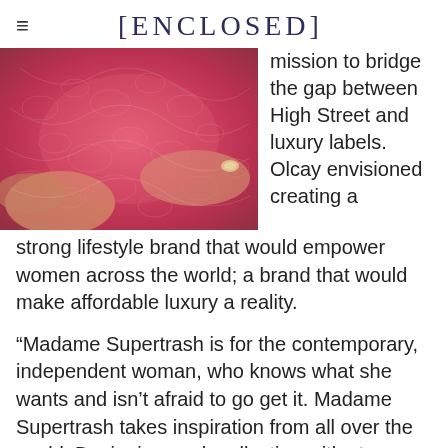[ENCLOSED]
[Figure (photo): Close-up photo of a woman wearing a red lace lingerie top, with hands visible showing a ring, warm-toned background.]
mission to bridge the gap between High Street and luxury labels. Olcay envisioned creating a strong lifestyle brand that would empower women across the world; a brand that would make affordable luxury a reality.
“Madame Supertrash is for the contemporary, independent woman, who knows what she wants and isn’t afraid to go get it. Madame Supertrash takes inspiration from all over the world. Designing each collection with strong, modern, contemporary women in mind.”